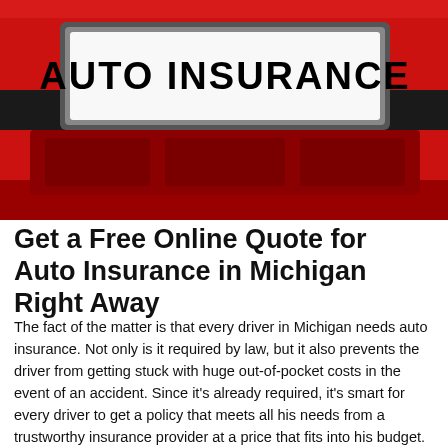[Figure (photo): Photograph of a red car's rear bumper area with a white license plate holder displaying the text 'AUTO INSURANCE' in large bold black uppercase letters on a white background.]
Get a Free Online Quote for Auto Insurance in Michigan Right Away
The fact of the matter is that every driver in Michigan needs auto insurance. Not only is it required by law, but it also prevents the driver from getting stuck with huge out-of-pocket costs in the event of an accident. Since it's already required, it's smart for every driver to get a policy that meets all his needs from a trustworthy insurance provider at a price that fits into his budget. While he'll need to spend some time checking out rate quotes, it's well worth it to find the right plan, and the process goes quickly when using Wirefly. The driver just needs to punch in his ZIP code and then commit a little time to checking out the result listings. That small time commitment can